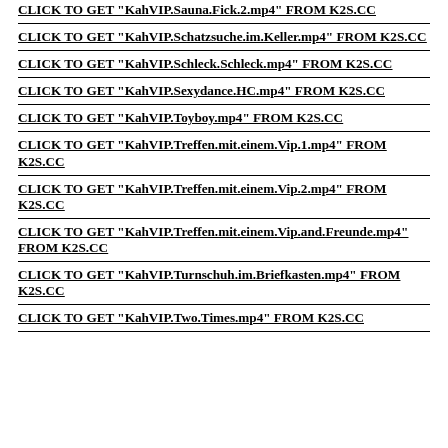CLICK TO GET "KahVIP.Sauna.Fick.2.mp4" FROM K2S.CC
CLICK TO GET "KahVIP.Schatzsuche.im.Keller.mp4" FROM K2S.CC
CLICK TO GET "KahVIP.Schleck.Schleck.mp4" FROM K2S.CC
CLICK TO GET "KahVIP.Sexydance.HC.mp4" FROM K2S.CC
CLICK TO GET "KahVIP.Toyboy.mp4" FROM K2S.CC
CLICK TO GET "KahVIP.Treffen.mit.einem.Vip.1.mp4" FROM K2S.CC
CLICK TO GET "KahVIP.Treffen.mit.einem.Vip.2.mp4" FROM K2S.CC
CLICK TO GET "KahVIP.Treffen.mit.einem.Vip.and.Freunde.mp4" FROM K2S.CC
CLICK TO GET "KahVIP.Turnschuh.im.Briefkasten.mp4" FROM K2S.CC
CLICK TO GET "KahVIP.Two.Times.mp4" FROM K2S.CC